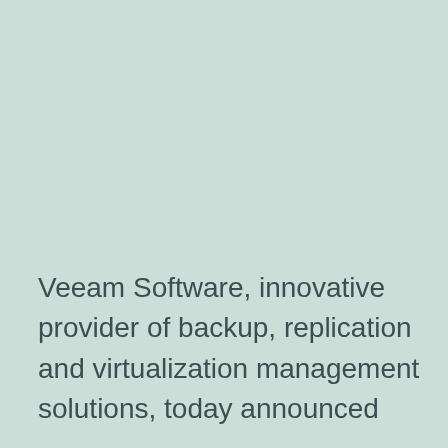Veeam Software, innovative provider of backup, replication and virtualization management solutions, today announced